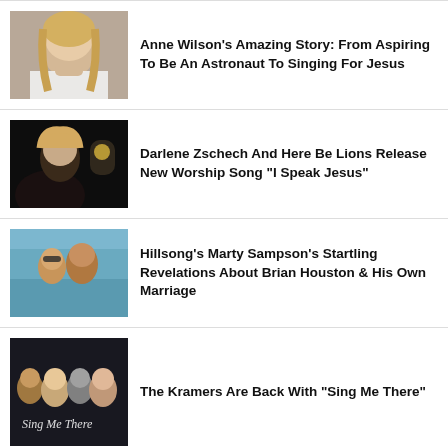[Figure (photo): Blonde woman in white outfit against dark background]
Anne Wilson's Amazing Story: From Aspiring To Be An Astronaut To Singing For Jesus
[Figure (photo): Woman with blonde hair in dark setting with lamp]
Darlene Zschech And Here Be Lions Release New Worship Song "I Speak Jesus"
[Figure (photo): Couple selfie near water, woman in sunglasses]
Hillsong's Marty Sampson's Startling Revelations About Brian Houston & His Own Marriage
[Figure (photo): Group of four people formally dressed, Sing Me There text overlay]
The Kramers Are Back With "Sing Me There"
[Figure (photo): Partial dark image, partially cut off]
7 Things To Know About Elevation Worship's...